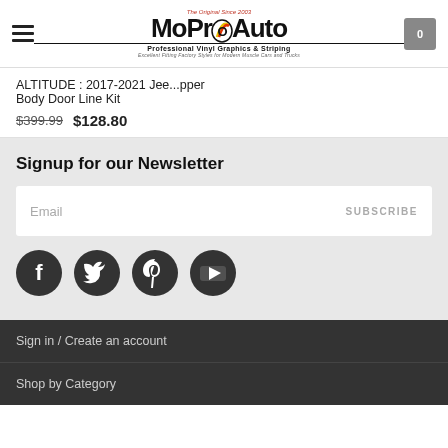MoProAuto - Professional Vinyl Graphics & Striping
ALTITUDE : 2017-2021 Jee...pper Body Door Line Kit
$399.99  $128.80
Signup for our Newsletter
Email  SUBSCRIBE
[Figure (infographic): Social media icons: Facebook, Twitter, Pinterest, YouTube]
Sign in / Create an account
Shop by Category